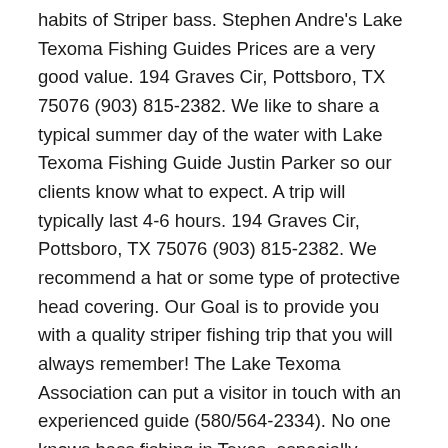habits of Striper bass. Stephen Andre's Lake Texoma Fishing Guides Prices are a very good value. 194 Graves Cir, Pottsboro, TX 75076 (903) 815-2382. We like to share a typical summer day of the water with Lake Texoma Fishing Guide Justin Parker so our clients know what to expect. A trip will typically last 4-6 hours. 194 Graves Cir, Pottsboro, TX 75076 (903) 815-2382. We recommend a hat or some type of protective head covering. Our Goal is to provide you with a quality striper fishing trip that you will always remember! The Lake Texoma Association can put a visitor in touch with an experienced guide (580/564-2334). No one knows bass fishing in Texas, especially Texoma Striper fishing, better than Dan Barnett. Cornett's Guide Service at Lake Texoma is the premier guide service for your Striper fishing. Bruce is a professional licensed fulltime guide who has dedicated his life since 1984 to learning the habits of Striper bass. I'm a professional, licensed striper